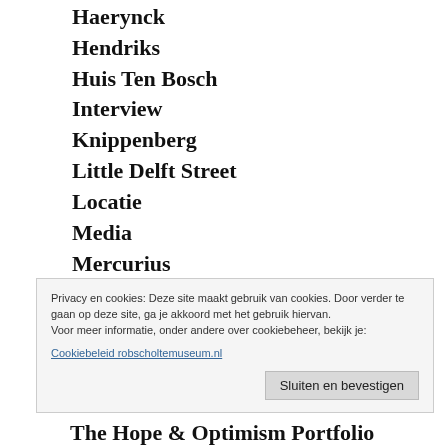Haerynck
Hendriks
Huis Ten Bosch
Interview
Knippenberg
Little Delft Street
Locatie
Media
Mercurius
Millenium
Nihot
Northe
Privacy en cookies: Deze site maakt gebruik van cookies. Door verder te gaan op deze site, ga je akkoord met het gebruik hiervan.
Voor meer informatie, onder andere over cookiebeheer, bekijk je:
Cookiebeleid robscholtemuseum.nl
Sluiten en bevestigen
The Hope & Optimism Portfolio